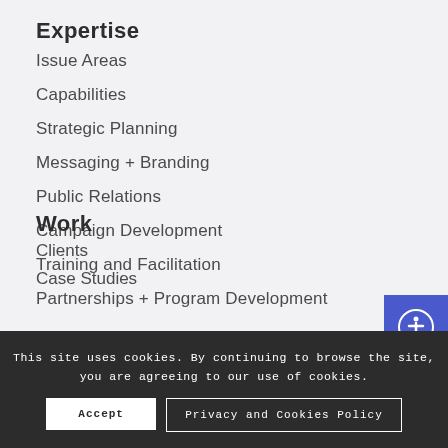Expertise
Issue Areas
Capabilities
Strategic Planning
Messaging + Branding
Public Relations
Campaign Development
Training and Facilitation
Partnerships + Program Development
Work
Clients
Case Studies
This site uses cookies. By continuing to browse the site, you are agreeing to our use of cookies.
Accept
Privacy and Cookies Policy